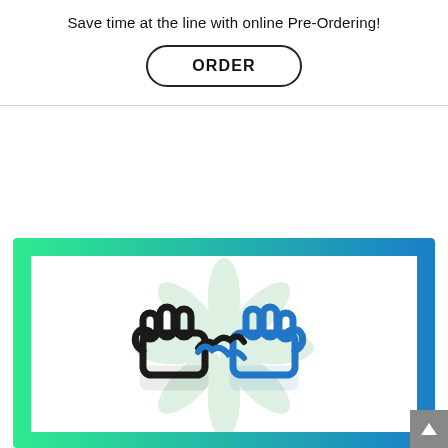Save time at the line with online Pre-Ordering!
[Figure (other): ORDER button with rounded pill border]
[Figure (illustration): Handshake icon with one black hand and one blue hand, overlaid on a light green cannabis leaf watermark background, inside a gradient green-to-blue border frame]